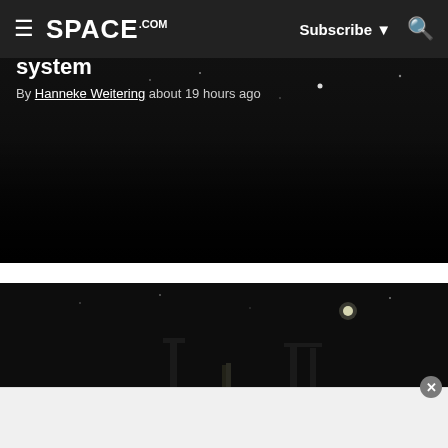SPACE.com — Subscribe | Search
Voyager 1 launches to the outer solar system
By Hanneke Weitering about 19 hours ago
[Figure (photo): Dark nighttime photo of a rocket launch site with launch structures silhouetted against the night sky, with a bright light visible in the upper right.]
SpaceX launches F1 Starlink